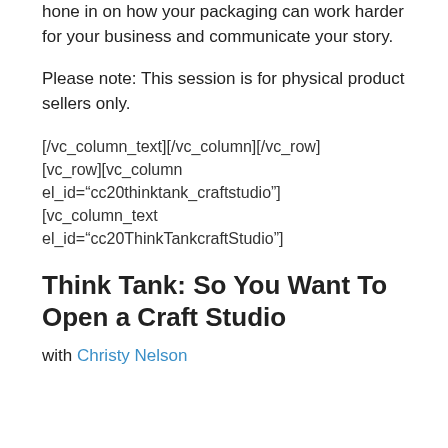hone in on how your packaging can work harder for your business and communicate your story.
Please note: This session is for physical product sellers only.
[/vc_column_text][/vc_column][/vc_row][vc_row][vc_column el_id="cc20thinktank_craftstudio"][vc_column_text el_id="cc20ThinkTankcraftStudio"]
Think Tank: So You Want To Open a Craft Studio
with Christy Nelson